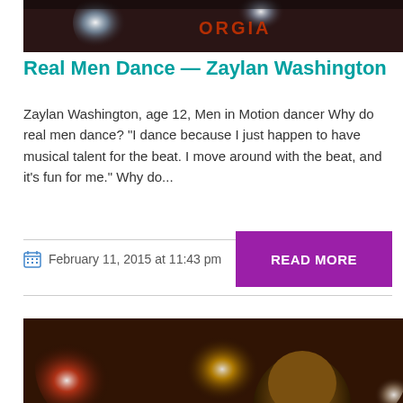[Figure (photo): Stage performance photo with bright spotlights on dark background, partial view showing stage lighting and 'ORGIA' text visible on backdrop]
Real Men Dance — Zaylan Washington
Zaylan Washington, age 12, Men in Motion dancer Why do real men dance? “I dance because I just happen to have musical talent for the beat. I move around with the beat, and it’s fun for me.” Why do...
February 11, 2015 at 11:43 pm
READ MORE
[Figure (photo): Stage performance photo showing a young dancer under warm stage lighting with colored spotlights (red, amber, white) in a dark venue]